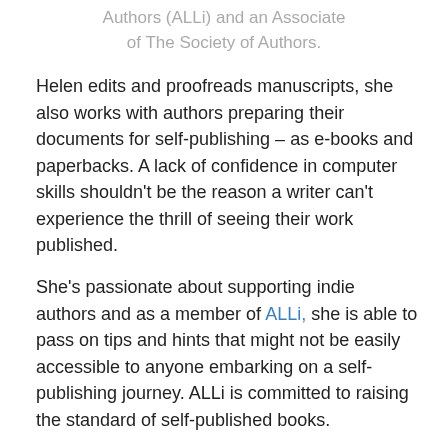Authors (ALLi) and an Associate of The Society of Authors.
Helen edits and proofreads manuscripts, she also works with authors preparing their documents for self-publishing – as e-books and paperbacks. A lack of confidence in computer skills shouldn't be the reason a writer can't experience the thrill of seeing their work published.
She's passionate about supporting indie authors and as a member of ALLi, she is able to pass on tips and hints that might not be easily accessible to anyone embarking on a self-publishing journey. ALLi is committed to raising the standard of self-published books.
She often half-jokes that no-one will come knocking on an author's door, asking if they have a book to sell. Marketing